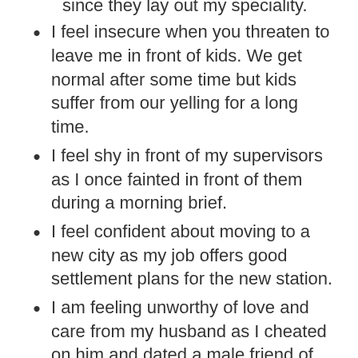been successful at doing them since they lay out my speciality.
I feel insecure when you threaten to leave me in front of kids. We get normal after some time but kids suffer from our yelling for a long time.
I feel shy in front of my supervisors as I once fainted in front of them during a morning brief.
I feel confident about moving to a new city as my job offers good settlement plans for the new station.
I am feeling unworthy of love and care from my husband as I cheated on him and dated a male friend of mine.